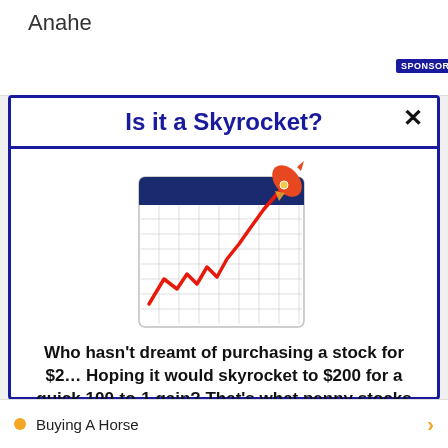Anahe
SPONSORED  Return: 9.16%
Is it a Skyrocket?
[Figure (illustration): Stock chart illustration showing a rising red line on a grid calendar background with a rocket launching from the top right corner]
Who hasn't dreamt of purchasing a stock for $2… Hoping it would skyrocket to $200 for a quick 100-to-1 gain? That's what penny stocks can do sometimes. Check out the 4 penny stocks on our watchlist here.
>>> See The List <<<
Buying A Horse